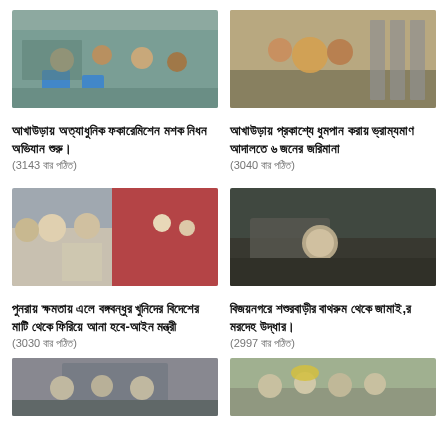[Figure (photo): People gathered outdoors with blue containers, mosquito fogging operation]
আখাউড়ায় অত্যাধুনিক ফকারেমিশেন মশক নিধন অভিযান শুরু।
(3143 বার পঠিত)
[Figure (photo): People standing in a shop/store, woman in yellow saree]
আখাউড়ায় প্রকাশ্যে ধুমপান করায় ভ্রাম্যমাণ আদালতে ৬ জনের জরিমানা
(3040 বার পঠিত)
[Figure (photo): People at a political rally or event with microphones and crowds]
পুনরায় ক্ষমতায় এলে বঙ্গবন্ধুর খুনিদের বিদেশের মাটি থেকে ফিরিয়ে আনা হবে-আইন মন্ত্রী
(3030 বার পঠিত)
[Figure (photo): Person lying in a bathroom/confined space, crime scene]
বিজয়নগরে শশুরবাড়ীর বাথরুম থেকে জামাই,র মরদেহ উদ্ধার।
(2997 বার পঠিত)
[Figure (photo): People standing at a gate or entrance, partial view at bottom]
[Figure (photo): Group of people posing, one with yellow flowers, partial view at bottom]